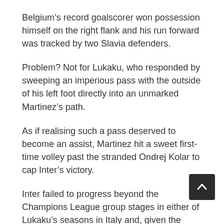Belgium’s record goalscorer won possession himself on the right flank and his run forward was tracked by two Slavia defenders.
Problem? Not for Lukaku, who responded by sweeping an imperious pass with the outside of his left foot directly into an unmarked Martinez’s path.
As if realising such a pass deserved to become an assist, Martinez hit a sweet first-time volley past the stranded Ondrej Kolar to cap Inter’s victory.
Inter failed to progress beyond the Champions League group stages in either of Lukaku’s seasons in Italy and, given the club’s financial problems, it is perhaps understandable that the striker has decided to join the European champions for a £98million fee.
And that sound you can hear is Chelsea fans rubbing their hands with glee at the prospect of Lukaku running out at